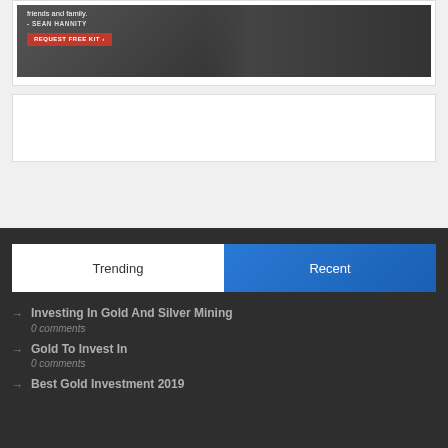[Figure (photo): Advertisement image showing a man in a suit with text 'friends and family. - SEAN HANNITY' and a red 'REQUEST FREE KIT' button]
[Figure (photo): Empty white card / advertisement placeholder]
Trending | Recent
Investing In Gold And Silver Mining
0 comments
Gold To Invest In
0 comments
Best Gold Investment 2019